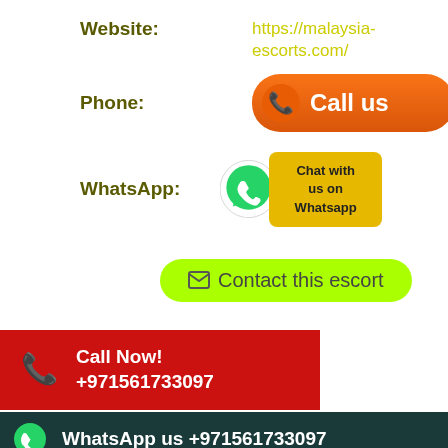Website: https://malaysia-escorts.com/
Phone: Call us
WhatsApp: Chat with us on Whatsapp
Contact this escort
SERVICES:
without condom)
al sex)
CIM (Come in mouth)
[Figure (infographic): Red Call Now banner with phone number +971561733097]
[Figure (infographic): Dark teal WhatsApp footer banner: WhatsApp us +971561733097]